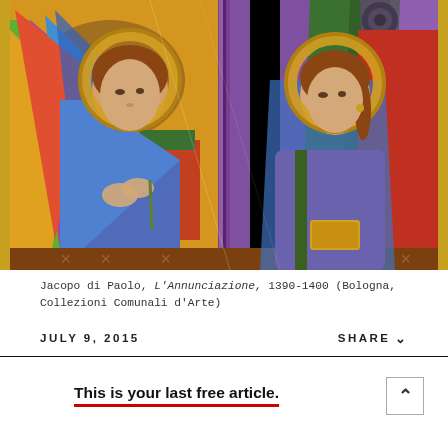[Figure (illustration): Jacopo di Paolo, L'Annunciazione, 1390-1400. Two figures with halos in medieval Italian religious painting style: an angel on the left in blue and pink robes with colorful wings, and the Virgin Mary on the right in pink robes with green mantle, set against ornate Gothic architectural background.]
Jacopo di Paolo, L'Annunciazione, 1390-1400 (Bologna, Collezioni Comunali d'Arte)
JULY 9, 2015
SHARE
This is your last free article.